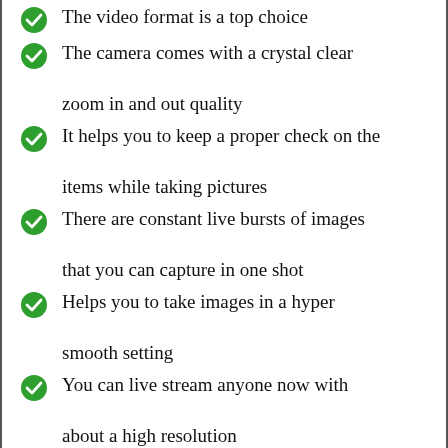The video format is a top choice
The camera comes with a crystal clear zoom in and out quality
It helps you to keep a proper check on the items while taking pictures
There are constant live bursts of images that you can capture in one shot
Helps you to take images in a hyper smooth setting
You can live stream anyone now with about a high resolution